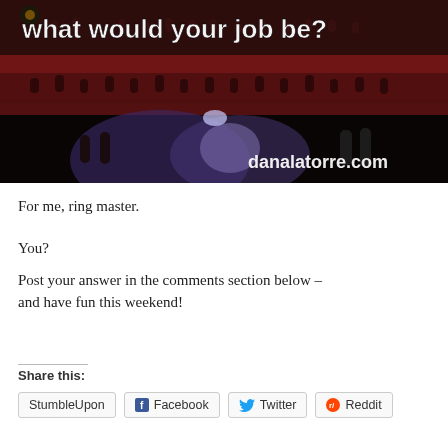[Figure (photo): A circus theater interior with audience in balcony seating, a performance floor lit with spotlights below. Text overlay reads 'what would your job be?' in white bold letters at top, and 'danalatorre.com' in white text at bottom right.]
For me, ring master.
You?
Post your answer in the comments section below – and have fun this weekend!
Share this:
StumbleUpon  Facebook  Twitter  Reddit